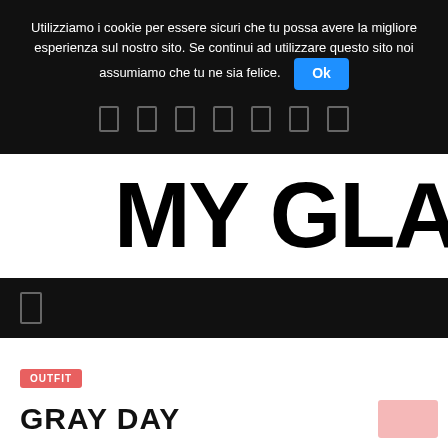Utilizziamo i cookie per essere sicuri che tu possa avere la migliore esperienza sul nostro sito. Se continui ad utilizzare questo sito noi assumiamo che tu ne sia felice.  Ok
[Figure (screenshot): Navigation bar with icon symbols on dark background]
MY GLA
[Figure (screenshot): Dark navigation bar with a single icon symbol on the left]
OUTFIT
GRAY DAY